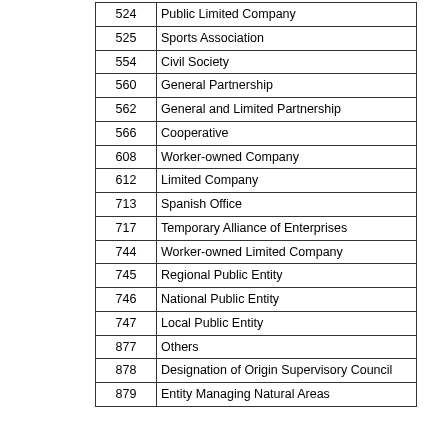| Code | Description |
| --- | --- |
| 524 | Public Limited Company |
| 525 | Sports Association |
| 554 | Civil Society |
| 560 | General Partnership |
| 562 | General and Limited Partnership |
| 566 | Cooperative |
| 608 | Worker-owned Company |
| 612 | Limited Company |
| 713 | Spanish Office |
| 717 | Temporary Alliance of Enterprises |
| 744 | Worker-owned Limited Company |
| 745 | Regional Public Entity |
| 746 | National Public Entity |
| 747 | Local Public Entity |
| 877 | Others |
| 878 | Designation of Origin Supervisory Council |
| 879 | Entity Managing Natural Areas |